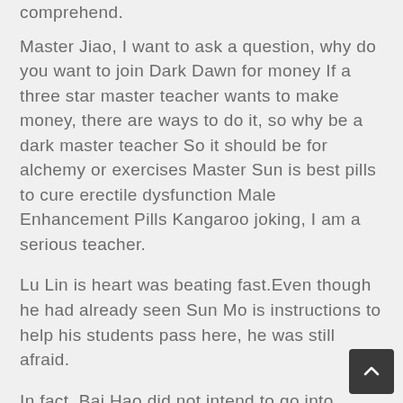comprehend.
Master Jiao, I want to ask a question, why do you want to join Dark Dawn for money If a three star master teacher wants to make money, there are ways to do it, so why be a dark master teacher So it should be for alchemy or exercises Master Sun is best pills to cure erectile dysfunction Male Enhancement Pills Kangaroo joking, I am a serious teacher.
Lu Lin is heart was beating fast.Even though he had already seen Sun Mo is instructions to help his students pass here, he was still afraid.
In fact, Bai Hao did not intend to go into it.After all, he wanted to win Sun Mo because of his teaching and talent, not something like damaging